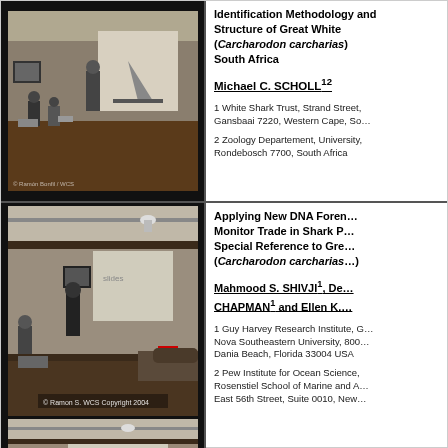[Figure (photo): Photo of a presentation room with a presenter standing near a projection screen showing a shark fin image, attendees seated around a table]
Identification Methodology and Structure of Great White (Carcharodon carcharias) South Africa
Michael C. SCHOLL¹²
1 White Shark Trust, Strand Street, Gansbaai 7220, Western Cape, South Africa
2 Zoology Departement, University, Rondebosch 7700, South Africa
[Figure (photo): Photo of a presentation room with a presenter at a screen, attendees seated, with WCS Copyright 2004 watermark]
Applying New DNA Forensics to Monitor Trade in Shark Products with Special Reference to Great White (Carcharodon carcharias)
Mahmood S. SHIVJI¹, De CHAPMAN¹ and Ellen K.
1 Guy Harvey Research Institute, Nova Southeastern University, 800 Dania Beach, Florida 33004 USA
2 Pew Institute for Ocean Science, Rosenstiel School of Marine and Atmospheric Science, East 56th Street, Suite 0010, New York
[Figure (photo): Partial photo of a presentation room with projection screen visible at bottom]